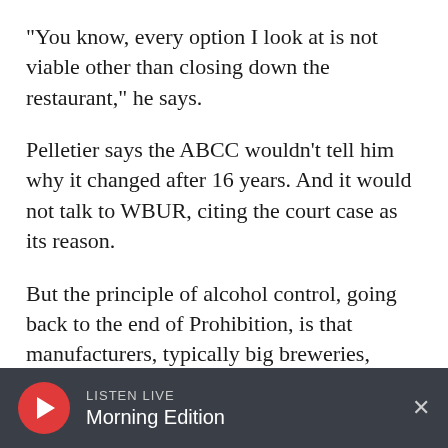"You know, every option I look at is not viable other than closing down the restaurant," he says.
Pelletier says the ABCC wouldn't tell him why it changed after 16 years. And it would not talk to WBUR, citing the court case as its reason.
But the principle of alcohol control, going back to the end of Prohibition, is that manufacturers, typically big breweries, should not own restaurants.
Pelletier and his lawyer argue that Nashoba
LISTEN LIVE Morning Edition